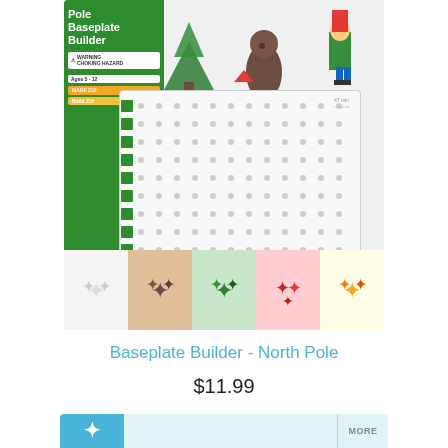[Figure (photo): Product photo of Plus-Plus Baseplate Builder - North Pole set, showing a green packaging card with white grid baseplate, figures of elves and Christmas characters, and compartments of colored plus-shaped pieces in white, brown, green, red, and gold]
Baseplate Builder - North Pole
$11.99
[Figure (photo): Partial view of another product at the bottom of the page with a blue and light blue strip and MORE label]